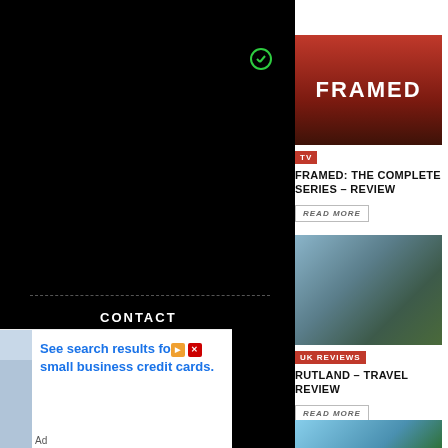[Figure (screenshot): Black sidebar navigation panel with CONTACT label and copyright symbol]
[Figure (photo): Red banner image for FRAMED TV series with bold white text FRAMED]
TV
FRAMED: THE COMPLETE SERIES – REVIEW
READ MORE
[Figure (photo): Aerial view of Rutland town with church spire and parked cars in market square]
UK REVIEWS
RUTLAND – TRAVEL REVIEW
READ MORE
TRAVEL REVIEWS
[Figure (photo): Advertisement banner showing man in shirt holding credit card and phone, with text: See search results for small business credit cards.]
Ad